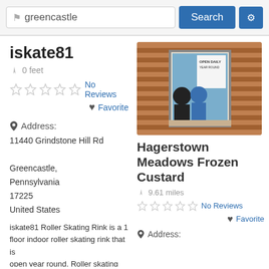greencastle | Search | [settings]
iskate81
0 feet
No Reviews
Favorite
Address:
11440 Grindstone Hill Rd
Greencastle, Pennsylvania 17225 United States
iskate81 Roller Skating Rink is a 1 floor indoor roller skating rink that is open year round. Roller skating
[Figure (photo): Photo of two people smiling through a service window of a brick building with a sign that reads OPEN DAILY YEAR ROUND]
Hagerstown Meadows Frozen Custard
9.61 miles
No Reviews
Favorite
Address: